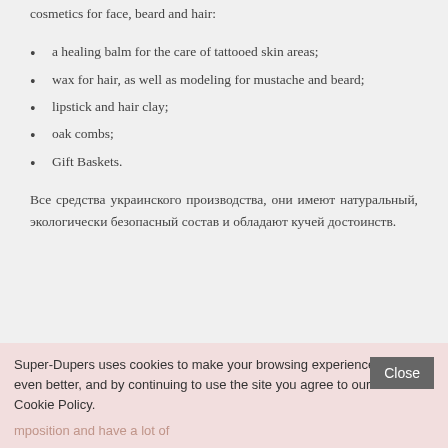cosmetics for face, beard and hair:
a healing balm for the care of tattooed skin areas;
wax for hair, as well as modeling for mustache and beard;
lipstick and hair clay;
oak combs;
Gift Baskets.
Все средства украинского производства, они имеют натуральный, экологически безопасный состав и обладают кучей достоинств.
Super-Dupers uses cookies to make your browsing experience even better, and by continuing to use the site you agree to our Cookie Policy.